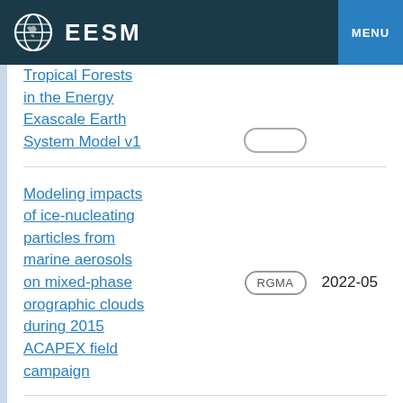EESM  MENU
Tropical Forests in the Energy Exascale Earth System Model v1
Modeling impacts of ice-nucleating particles from marine aerosols on mixed-phase orographic clouds during 2015 ACAPEX field campaign  RGMA  2022-05
Impact of Rainfall